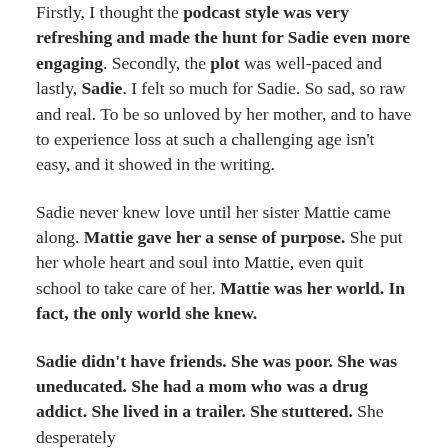Firstly, I thought the podcast style was very refreshing and made the hunt for Sadie even more engaging. Secondly, the plot was well-paced and lastly, Sadie. I felt so much for Sadie. So sad, so raw and real. To be so unloved by her mother, and to have to experience loss at such a challenging age isn't easy, and it showed in the writing.
Sadie never knew love until her sister Mattie came along. Mattie gave her a sense of purpose. She put her whole heart and soul into Mattie, even quit school to take care of her. Mattie was her world. In fact, the only world she knew.
Sadie didn't have friends. She was poor. She was uneducated. She had a mom who was a drug addict. She lived in a trailer. She stuttered. She desperately